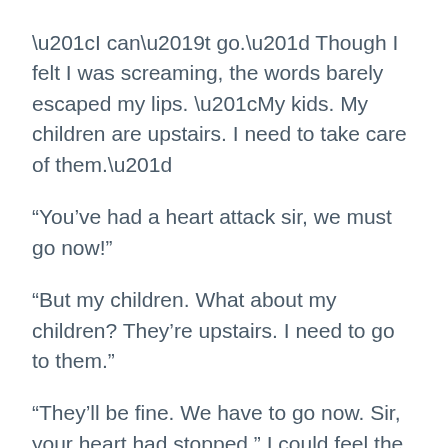“I can’t go.” Though I felt I was screaming, the words barely escaped my lips. “My kids. My children are upstairs. I need to take care of them.”
“You’ve had a heart attack sir, we must go now!”
“But my children. What about my children? They’re upstairs. I need to go to them.”
“They’ll be fine. We have to go now. Sir, your heart had stopped.” I could feel the table below me moving as I was wheeled outside. The night air was cold against my naked chest. The stars blurred above me as I was brought to the vehicle. Then a bump, a slight lift in